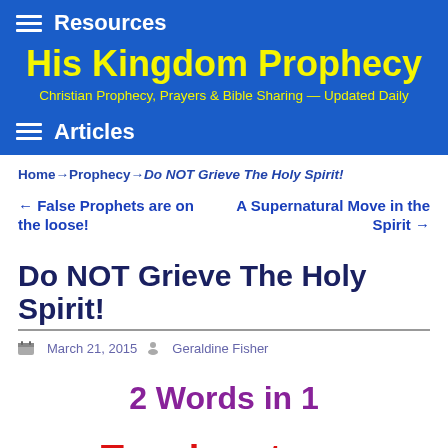Resources
His Kingdom Prophecy
Christian Prophecy, Prayers & Bible Sharing — Updated Daily
Articles
Home → Prophecy → Do NOT Grieve The Holy Spirit!
← False Prophets are on the loose!      A Supernatural Move in the Spirit →
Do NOT Grieve The Holy Spirit!
March 21, 2015  Geraldine Fisher
2 Words in 1
Touch not my anointed ones